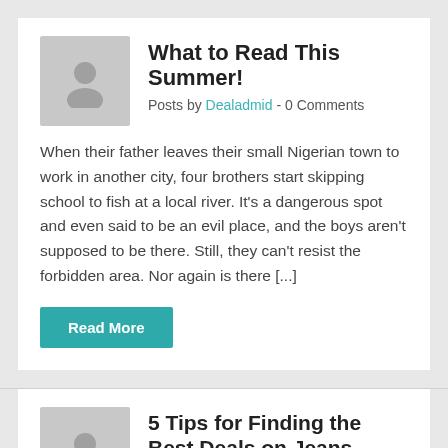What to Read This Summer!
Posts by Dealadmid  -  0 Comments
When their father leaves their small Nigerian town to work in another city, four brothers start skipping school to fish at a local river. It's a dangerous spot and even said to be an evil place, and the boys aren't supposed to be there. Still, they can't resist the forbidden area. Nor again is there [...]
Read More
5 Tips for Finding the Best Deals on Jeans
Posts by Dealadmid  -  2 Comments
Nor again is there anyone who loves or pursues or desires to obtain pain of itself, because it is pain, but because occasionally circumstances occur in which toil and pain can procure him some great pleasure. To take a trivial example